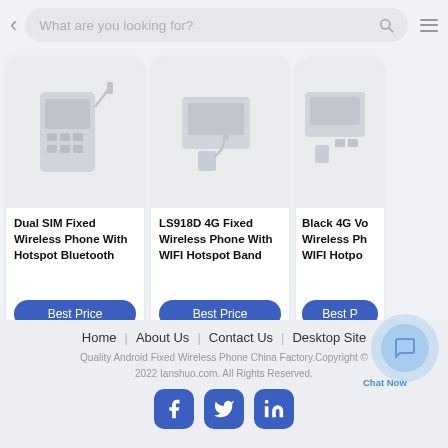< What are you looking for? [search icon] [menu icon]
[Figure (screenshot): Product card 1: Dual SIM Fixed Wireless Phone With Hotspot Bluetooth, with Best Price button]
[Figure (screenshot): Product card 2: LS918D 4G Fixed Wireless Phone With WIFI Hotspot Band, with Best Price button]
[Figure (screenshot): Product card 3 (partially visible): Black 4G Wireless Phone WIFI Hotspot, with Best Price button]
Home | About Us | Contact Us | Desktop Site
Quality Android Fixed Wireless Phone China Factory.Copyright © 2022 Ianshuo.com. All Rights Reserved.